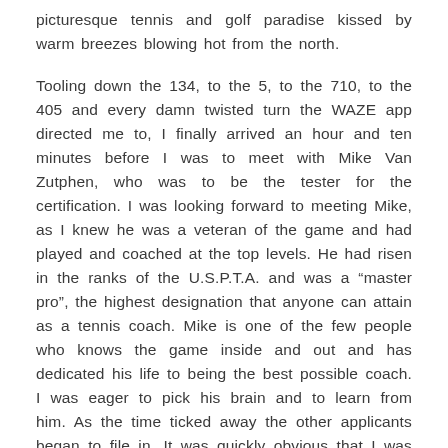picturesque tennis and golf paradise kissed by warm breezes blowing hot from the north.
Tooling down the 134, to the 5, to the 710, to the 405 and every damn twisted turn the WAZE app directed me to, I finally arrived an hour and ten minutes before I was to meet with Mike Van Zutphen, who was to be the tester for the certification. I was looking forward to meeting Mike, as I knew he was a veteran of the game and had played and coached at the top levels. He had risen in the ranks of the U.S.P.T.A. and was a “master pro”, the highest designation that anyone can attain as a tennis coach. Mike is one of the few people who knows the game inside and out and has dedicated his life to being the best possible coach. I was eager to pick his brain and to learn from him. As the time ticked away the other applicants began to file in. It was quickly obvious that I was old enough to be most of their